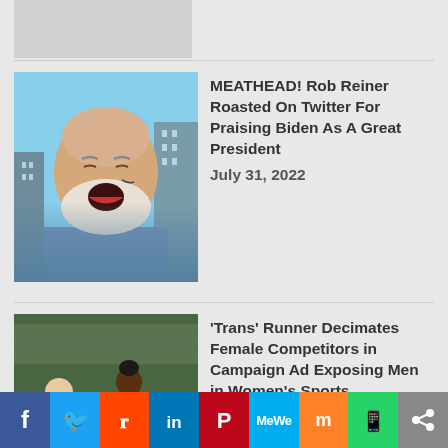[Figure (photo): Gray placeholder image at top]
[Figure (photo): Older bald man with white beard, mouth open, city skyline background]
MEATHEAD! Rob Reiner Roasted On Twitter For Praising Biden As A Great President
July 31, 2022
[Figure (photo): Two runners on a track, one in black Eagles uniform (#203), one in yellow Spartans uniform (#229)]
‘Trans’ Runner Decimates Female Competitors in Campaign Ad Exposing Men in Women's Sports
August 17, 2022